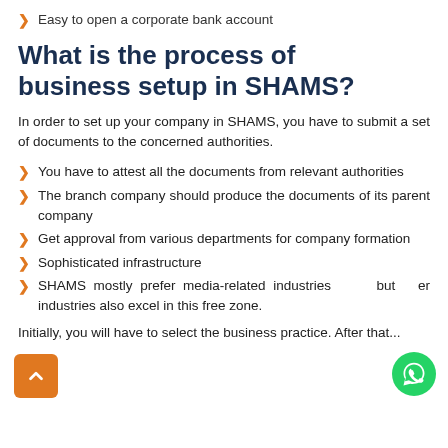Easy to open a corporate bank account
What is the process of business setup in SHAMS?
In order to set up your company in SHAMS, you have to submit a set of documents to the concerned authorities.
You have to attest all the documents from relevant authorities
The branch company should produce the documents of its parent company
Get approval from various departments for company formation
Sophisticated infrastructure
SHAMS mostly prefer media-related industries but other industries also excel in this free zone.
Initially, you will have to select the business practice. After that...